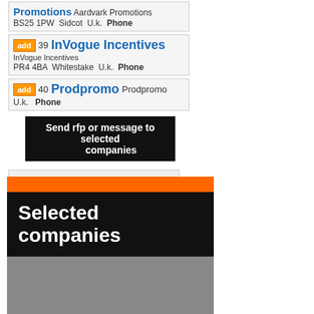Promotions Aardvark Promotions BS25 1PW Sidcot U.k. Phone
add 39 InVogue Incentives InVogue Incentives PR4 4BA Whitestake U.k. Phone
add 40 Prodpromo Prodpromo U.k. Phone
Send rfp or message to selected companies
Page 1 2 3 4 5 6 7 8 9 Previous Next Last
[Figure (screenshot): Selected companies banner with orange bar, black background with white text 'Selected companies', and grey box below with category labels: Apparel - bags, Food -, Silver - gold]
Apparel - bags   Food -   Silver - gold